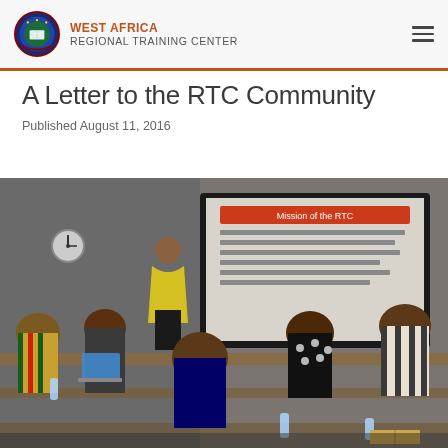WEST AFRICA REGIONAL TRAINING CENTER
A Letter to the RTC Community
Published August 11, 2016
[Figure (photo): A woman in a yellow top presenting at the front of a classroom to a group of seated participants. A large projection screen displays a slide titled 'Mission of the RTC'. Several attendees in colorful traditional and modern attire sit at tables with laptops and water bottles.]